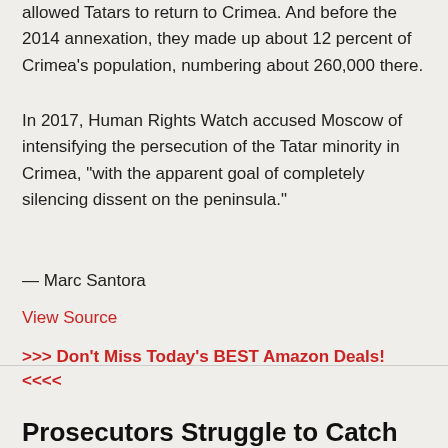allowed Tatars to return to Crimea. And before the 2014 annexation, they made up about 12 percent of Crimea's population, numbering about 260,000 there.
In 2017, Human Rights Watch accused Moscow of intensifying the persecution of the Tatar minority in Crimea, "with the apparent goal of completely silencing dissent on the peninsula."
— Marc Santora
View Source
>>> Don't Miss Today's BEST Amazon Deals! <<<<
Prosecutors Struggle to Catch